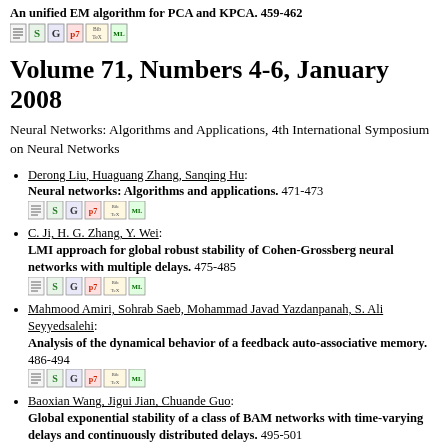An unified EM algorithm for PCA and KPCA. 459-462
Volume 71, Numbers 4-6, January 2008
Neural Networks: Algorithms and Applications, 4th International Symposium on Neural Networks
Derong Liu, Huaguang Zhang, Sanqing Hu: Neural networks: Algorithms and applications. 471-473
C. Ji, H. G. Zhang, Y. Wei: LMI approach for global robust stability of Cohen-Grossberg neural networks with multiple delays. 475-485
Mahmood Amiri, Sohrab Saeb, Mohammad Javad Yazdanpanah, S. Ali Seyyedsalehi: Analysis of the dynamical behavior of a feedback auto-associative memory. 486-494
Baoxian Wang, Jigui Jian, Chuande Guo: Global exponential stability of a class of BAM networks with time-varying delays and continuously distributed delays. 495-501